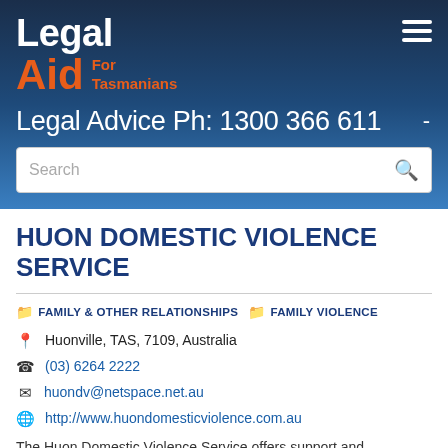Legal Aid For Tasmanians — Legal Advice Ph: 1300 366 611
HUON DOMESTIC VIOLENCE SERVICE
FAMILY & OTHER RELATIONSHIPS
FAMILY VIOLENCE
Huonville, TAS, 7109, Australia
(03) 6264 2222
huondv@netspace.net.au
http://www.huondomesticviolence.com.au
The Huon Domestic Violence Service offers support and